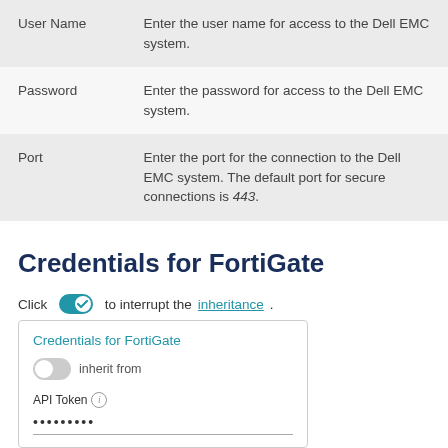| Field | Description |
| --- | --- |
| User Name | Enter the user name for access to the Dell EMC system. |
| Password | Enter the password for access to the Dell EMC system. |
| Port | Enter the port for the connection to the Dell EMC system. The default port for secure connections is 443. |
Credentials for FortiGate
Click [toggle icon] to interrupt the inheritance.
[Figure (screenshot): UI card showing 'Credentials for FortiGate' panel with an off toggle labeled 'inherit from', an API Token field with masked dots value, and a Port field below.]